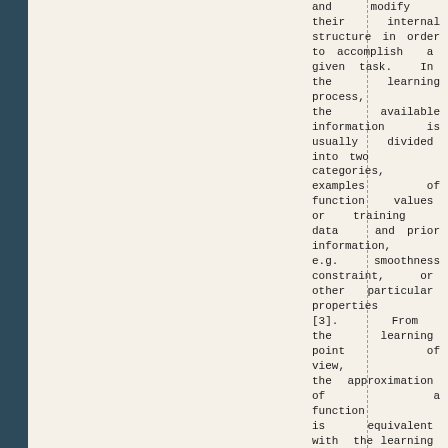and modify their internal structure in order to accomplish a given task. In the learning process, the available information is usually divided into two categories, examples of function values or training data and prior information, e.g. smoothness constraint, or other particular properties [3]. From the learning point of view, the approximation of a function is equivalent with the learning problem of a neural network. In this paper we want to show the capabilities of a neural network to approximate arbitrary continuous functions and to build a practical neural network to approximate a continuous function. We have made some experiments in order to confirm the theoretical results.